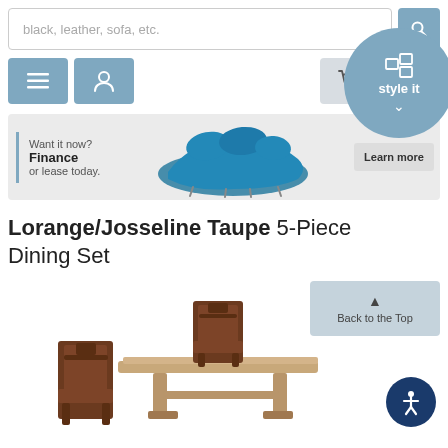[Figure (screenshot): E-commerce website screenshot showing a furniture store page with search bar, navigation icons, promotional banner with a teal curved sofa, product title 'Lorange/Josseline Taupe 5-Piece Dining Set', and a partial product image of a dining set with brown chairs and a wooden table.]